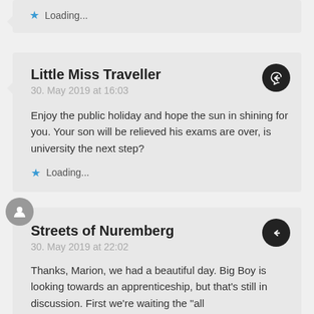Loading...
Little Miss Traveller
30. May 2019 at 16:03
Enjoy the public holiday and hope the sun in shining for you. Your son will be relieved his exams are over, is university the next step?
Loading...
Streets of Nuremberg
30. May 2019 at 22:02
Thanks, Marion, we had a beautiful day. Big Boy is looking towards an apprenticeship, but that's still in discussion. First we're waiting the "all